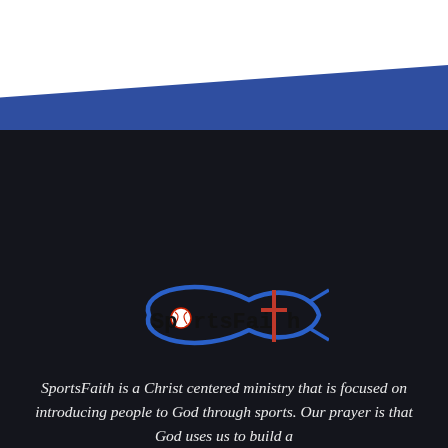[Figure (logo): SportsFaith logo: fish-shaped blue swoosh outline enclosing the word 'SportsFaith' in bold black serif-style font, with the 'o' in Sports replaced by a baseball icon and the 't' in Faith replaced by a cross symbol]
SportsFaith is a Christ centered ministry that is focused on introducing people to God through sports. Our prayer is that God uses us to build a